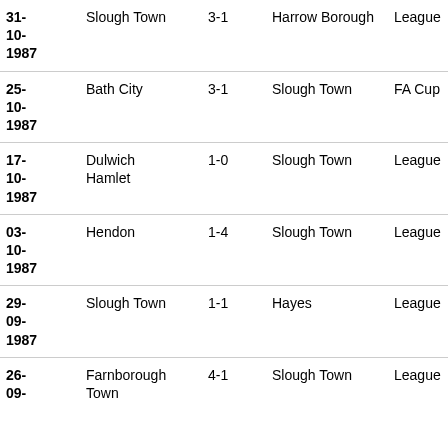| Date | Home | Score | Away | Competition |
| --- | --- | --- | --- | --- |
| 31-10-1987 | Slough Town | 3-1 | Harrow Borough | League |
| 25-10-1987 | Bath City | 3-1 | Slough Town | FA Cup |
| 17-10-1987 | Dulwich Hamlet | 1-0 | Slough Town | League |
| 03-10-1987 | Hendon | 1-4 | Slough Town | League |
| 29-09-1987 | Slough Town | 1-1 | Hayes | League |
| 26-09-1987 | Farnborough Town | 4-1 | Slough Town | League |